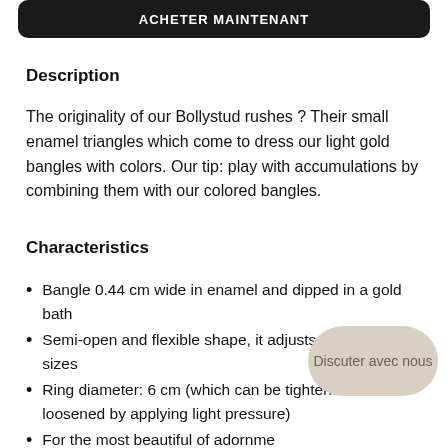[Figure (other): Dark rounded button/banner with text 'ACHETER MAINTENANT']
Description
The originality of our Bollystud rushes ? Their small enamel triangles which come to dress our light gold bangles with colors. Our tip: play with accumulations by combining them with our colored bangles.
Characteristics
Bangle 0.44 cm wide in enamel and dipped in a gold bath
Semi-open and flexible shape, it adjusts to wrists of all sizes
Ring diameter: 6 cm (which can be tightened or loosened by applying light pressure)
For the most beautiful of adornme…
Our rushes are offered in a pretty pouch and packaged in a small craft package signed bangle up